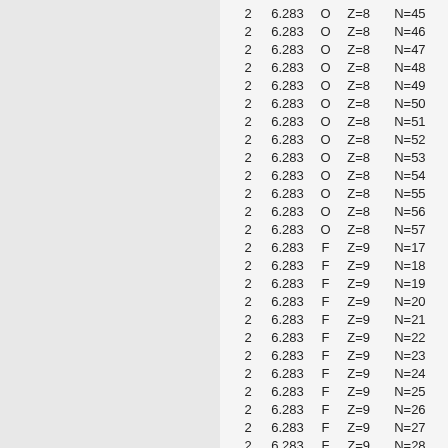| 2 | 6.283 | O | Z=8 | N=45 |
| 2 | 6.283 | O | Z=8 | N=46 |
| 2 | 6.283 | O | Z=8 | N=47 |
| 2 | 6.283 | O | Z=8 | N=48 |
| 2 | 6.283 | O | Z=8 | N=49 |
| 2 | 6.283 | O | Z=8 | N=50 |
| 2 | 6.283 | O | Z=8 | N=51 |
| 2 | 6.283 | O | Z=8 | N=52 |
| 2 | 6.283 | O | Z=8 | N=53 |
| 2 | 6.283 | O | Z=8 | N=54 |
| 2 | 6.283 | O | Z=8 | N=55 |
| 2 | 6.283 | O | Z=8 | N=56 |
| 2 | 6.283 | O | Z=8 | N=57 |
| 2 | 6.283 | F | Z=9 | N=17 |
| 2 | 6.283 | F | Z=9 | N=18 |
| 2 | 6.283 | F | Z=9 | N=19 |
| 2 | 6.283 | F | Z=9 | N=20 |
| 2 | 6.283 | F | Z=9 | N=21 |
| 2 | 6.283 | F | Z=9 | N=22 |
| 2 | 6.283 | F | Z=9 | N=23 |
| 2 | 6.283 | F | Z=9 | N=24 |
| 2 | 6.283 | F | Z=9 | N=25 |
| 2 | 6.283 | F | Z=9 | N=26 |
| 2 | 6.283 | F | Z=9 | N=27 |
| 2 | 6.283 | F | Z=9 | N=28 |